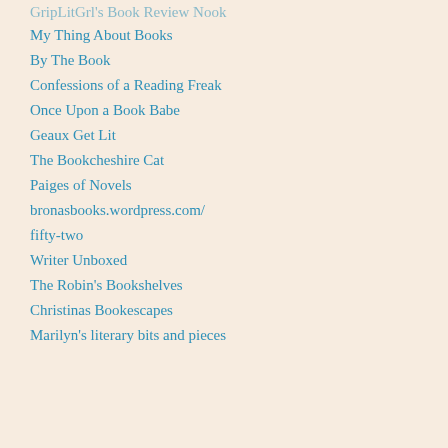GripLitGrl's Book Review Nook
My Thing About Books
By The Book
Confessions of a Reading Freak
Once Upon a Book Babe
Geaux Get Lit
The Bookcheshire Cat
Paiges of Novels
bronasbooks.wordpress.com/
fifty-two
Writer Unboxed
The Robin's Bookshelves
Christinas Bookescapes
Marilyn's literary bits and pieces